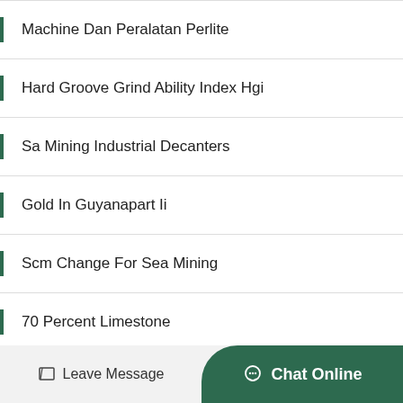Machine Dan Peralatan Perlite
Hard Groove Grind Ability Index Hgi
Sa Mining Industrial Decanters
Gold In Guyanapart Ii
Scm Change For Sea Mining
70 Percent Limestone
Buy Vertical Boring Machine For Sale Vertical
Leave Message   Chat Online